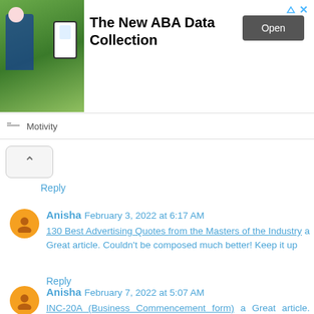[Figure (screenshot): Advertisement banner for 'The New ABA Data Collection' by Motivity with an Open button]
Reply
Anisha February 3, 2022 at 6:17 AM
130 Best Advertising Quotes from the Masters of the Industry a Great article. Couldn't be composed much better! Keep it up
Reply
Anisha February 7, 2022 at 5:07 AM
INC-20A (Business Commencement form) a Great article. Couldn't be composed much better! Keep it up
Reply